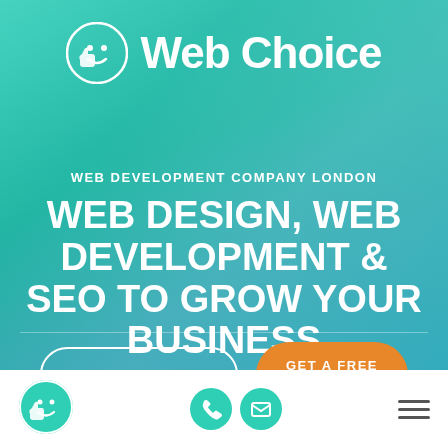[Figure (logo): Web Choice logo with thumbs up smiley face icon in white circle and 'Web Choice' text in white]
WEB DEVELOPMENT COMPANY LONDON
WEB DESIGN, WEB DEVELOPMENT & SEO TO GROW YOUR BUSINESS
VIEW OUR WORK
GET A FREE QUOTE
[Figure (logo): Web Choice thumbs up smiley face icon in teal circle in nav bar]
[Figure (infographic): Phone icon in teal circle and email envelope icon in teal circle]
[Figure (infographic): Hamburger menu icon (three horizontal lines)]